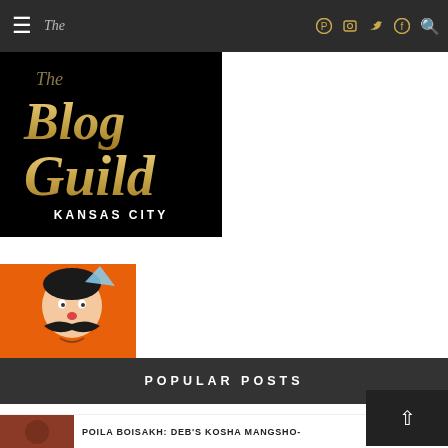The Blog Guild Kansas City — navigation bar with hamburger menu, social icons (Pinterest, Instagram, Twitter, Facebook), search icon
[Figure (logo): The Blog Guild Kansas City logo — gold script lettering on black background with text KANSAS CITY]
[Figure (illustration): Cartoon illustration of a man with a large black mustache on an orange background]
POPULAR POSTS
POILA BOISAKH: DEB'S KOSHA MANGSHO-